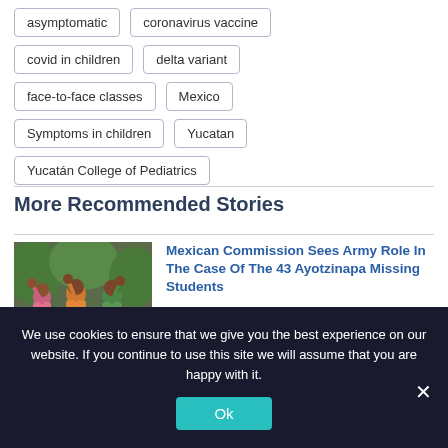asymptomatic
coronavirus vaccine
covid in children
delta variant
face-to-face classes
Mexico
Symptoms in children
Yucatan
Yucatán College of Pediatrics
More Recommended Stories
[Figure (photo): Group of people with raised fists in protest]
Mexican Commission Sees Army Role In The Case Of The 43 Ayotzinapa Missing Students
The Truth Commission
We use cookies to ensure that we give you the best experience on our website. If you continue to use this site we will assume that you are happy with it.